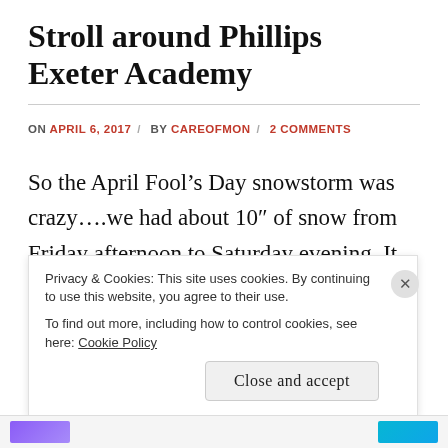Stroll around Phillips Exeter Academy
ON APRIL 6, 2017 / BY CAREOFMON / 2 COMMENTS
So the April Fool’s Day snowstorm was crazy….we had about 10″ of snow from Friday afternoon to Saturday evening. It was heavy, wet snow, the kind that makes all the branches droop. Sunday was a really nice day
Privacy & Cookies: This site uses cookies. By continuing to use this website, you agree to their use.
To find out more, including how to control cookies, see here: Cookie Policy
Close and accept